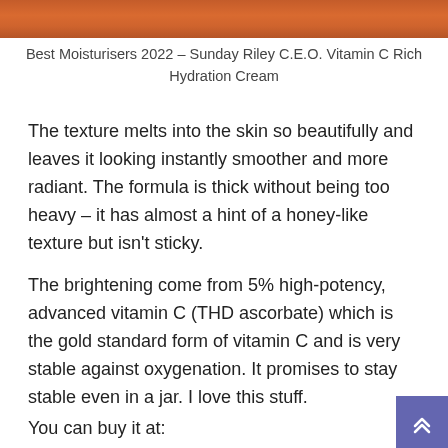[Figure (photo): Bottom portion of a brown/terracotta colored cream jar product, cropped at the top of the page]
Best Moisturisers 2022 – Sunday Riley C.E.O. Vitamin C Rich Hydration Cream
The texture melts into the skin so beautifully and leaves it looking instantly smoother and more radiant. The formula is thick without being too heavy – it has almost a hint of a honey-like texture but isn't sticky.
The brightening come from 5% high-potency, advanced vitamin C (THD ascorbate) which is the gold standard form of vitamin C and is very stable against oxygenation. It promises to stay stable even in a jar. I love this stuff.
You can buy it at: